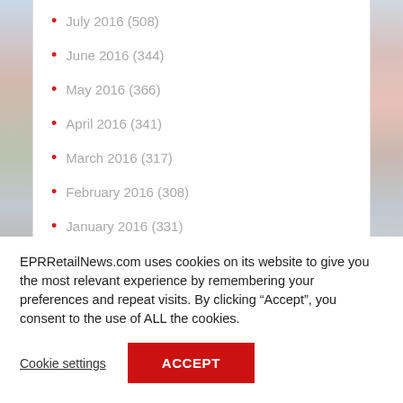July 2016 (508)
June 2016 (344)
May 2016 (366)
April 2016 (341)
March 2016 (317)
February 2016 (308)
January 2016 (331)
December 2015 (423)
EPRRetailNews.com uses cookies on its website to give you the most relevant experience by remembering your preferences and repeat visits. By clicking “Accept”, you consent to the use of ALL the cookies.
Cookie settings
ACCEPT